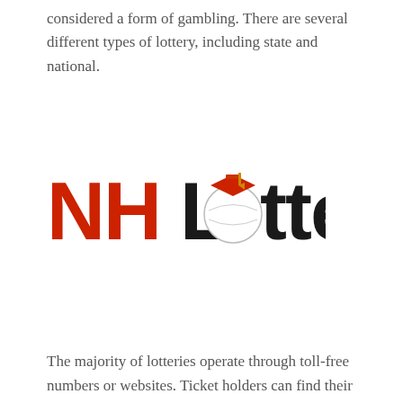considered a form of gambling. There are several different types of lottery, including state and national.
[Figure (logo): NH Lottery logo — 'NH' in bold red letters, 'Lottery' in bold black letters with a lottery ball replacing the 'o', and a graduation cap on top of the ball.]
The majority of lotteries operate through toll-free numbers or websites. Ticket holders can find their